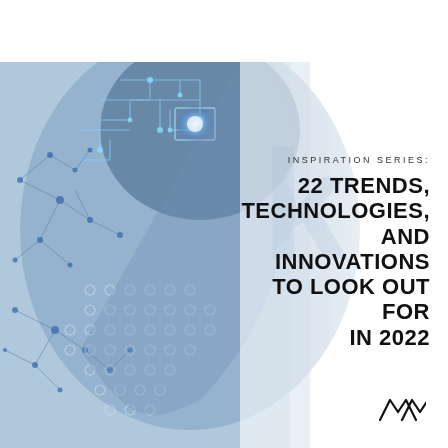[Figure (illustration): Cover page illustration: A photorealistic composite image of a woman's face in profile view, overlaid with glowing digital circuit board patterns, network node connections, and binary/dot matrix patterns. The image has a blue-grey color tone suggesting artificial intelligence and technology themes. Background is white on the right side.]
INSPIRATION SERIES:
22 TRENDS, TECHNOLOGIES, AND INNOVATIONS TO LOOK OUT FOR IN 2022
[Figure (logo): Abstract logo consisting of two stylized M or mountain peak shapes drawn with thin black lines, resembling a waveform or dual peaks.]